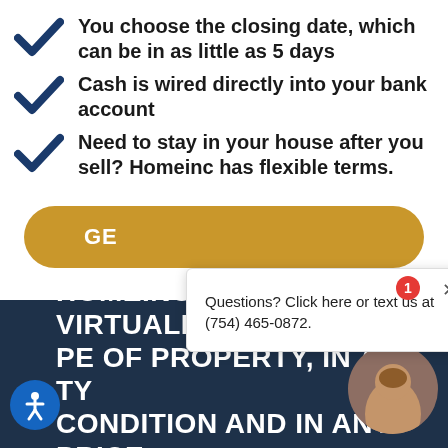You choose the closing date, which can be in as little as 5 days
Cash is wired directly into your bank account
Need to stay in your house after you sell? Homeinc has flexible terms.
[Figure (other): Yellow rounded pill-shaped CTA button partially visible, labeled 'GE...']
Questions? Click here or text us at (754) 465-0872.
HOMEINC BUYS VIRTUALLY A... PE OF PROPERTY, IN ANY TY... CONDITION AND IN ANY PRICE